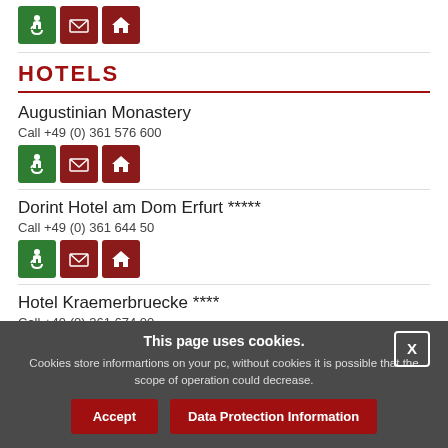[Figure (infographic): Three icon buttons at top: green wheelchair accessibility icon, dark red envelope/email icon, dark red home/website icon]
HOTELS
Augustinian Monastery
Call +49 (0) 361 576 600
[Figure (infographic): Three icon buttons: green wheelchair icon, dark red envelope icon, dark red home icon]
Dorint Hotel am Dom Erfurt *****
Call +49 (0) 361 644 50
[Figure (infographic): Three icon buttons: green wheelchair icon, dark red envelope icon, dark red home icon]
Hotel Kraemerbruecke ****
Call +49 (0) 361 674 00
This page uses cookies. Cookies store informartions on your pc, without cookies it is possible that the scope of operation could decrease.